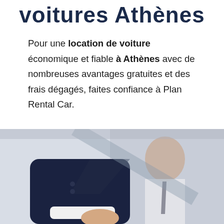voitures Athènes
Pour une location de voiture économique et fiable à Athènes avec de nombreuses avantages gratuites et des frais dégagés, faites confiance à Plan Rental Car.
[Figure (photo): Two people shaking hands, one in a dark navy suit, the other blurred in background wearing a suit. Business handshake scene.]